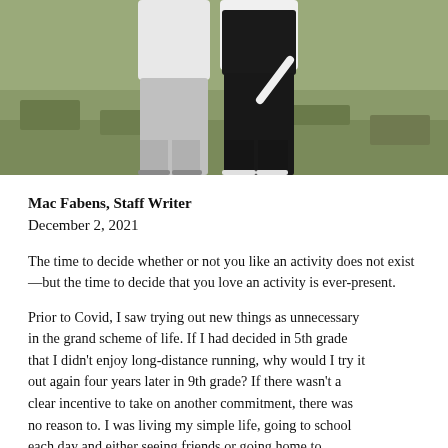[Figure (photo): Two people standing outdoors on a grassy field, cropped to show lower bodies only. One wearing light grey sweatpants, the other wearing dark/black pants.]
Mac Fabens, Staff Writer
December 2, 2021
The time to decide whether or not you like an activity does not exist—but the time to decide that you love an activity is ever-present.
Prior to Covid, I saw trying out new things as unnecessary in the grand scheme of life. If I had decided in 5th grade that I didn't enjoy long-distance running, why would I try it out again four years later in 9th grade? If there wasn't a clear incentive to take on another commitment, there was no reason to. I was living my simple life, going to school each day and either seeing friends or going home to complete my